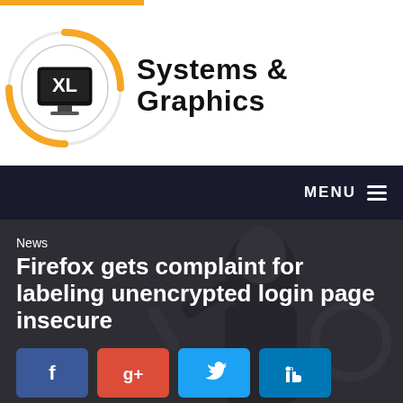[Figure (logo): XL Systems & Graphics logo with circular orange swoosh and monitor icon]
MENU
News
Firefox gets complaint for labeling unencrypted login page insecure
[Figure (illustration): Dark background photo of a person in dark clothing]
[Figure (infographic): Social share buttons: Facebook, Google+, Twitter, LinkedIn]